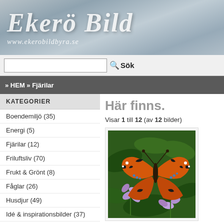[Figure (logo): Ekerö Bild logo with cursive text and website URL www.ekerobildbyra.se on a grey water-like background]
[Figure (screenshot): Search bar with text input and Sök button]
» HEM » Fjärilar
KATEGORIER
Boendemiljö (35)
Energi (5)
Fjärilar (12)
Friluftsliv (70)
Frukt & Grönt (8)
Fåglar (26)
Husdjur (49)
Idé & inspirationsbilder (37)
Insekter & småkryp (25)
Kommunikationer (25)
Kyrkor (19)
Här finns.
Visar 1 till 12 (av 12 bilder)
[Figure (photo): Orange and black butterfly (Nässelfjäril) resting on purple/pink flowers with green leaves in background]